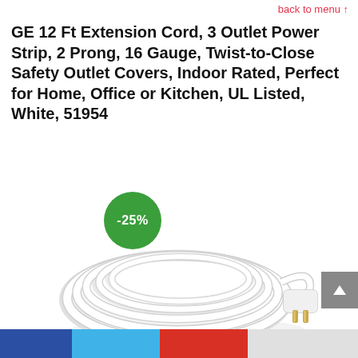back to menu ↑
GE 12 Ft Extension Cord, 3 Outlet Power Strip, 2 Prong, 16 Gauge, Twist-to-Close Safety Outlet Covers, Indoor Rated, Perfect for Home, Office or Kitchen, UL Listed, White, 51954
[Figure (photo): White extension cord coiled on white background with gold 2-prong plug visible, with a green circular badge showing -25% discount]
Social sharing / navigation bottom bar